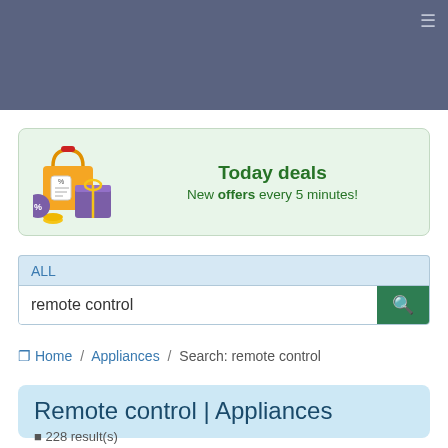[Figure (illustration): Today deals banner with shopping bags illustration, yellow bag with percentage tag, purple gift box, with text: Today deals — New offers every 5 minutes!]
ALL
remote control
Home / Appliances / Search: remote control
Remote control | Appliances
228 result(s)